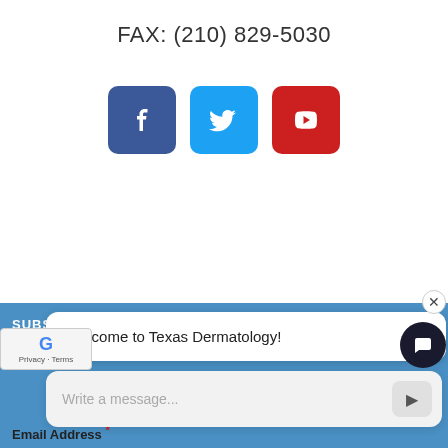FAX: (210) 829-5030
[Figure (infographic): Three social media icon buttons: Facebook (dark blue), Twitter (light blue), YouTube (red)]
SUBSCRIBE AND NEVER MISS A REVIEW
Welcome to Texas Dermatology!
Write a message...
* indicates required
Email Address *